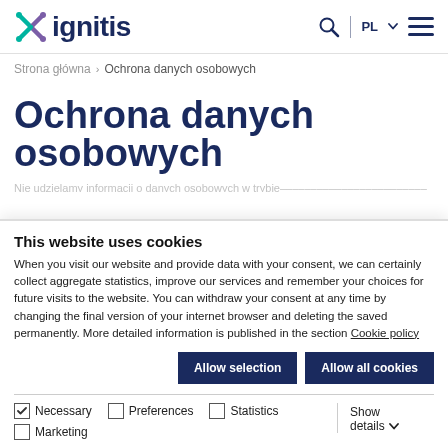ignitis — navigation bar with logo, search, PL language selector, hamburger menu
Strona główna › Ochrona danych osobowych
Ochrona danych osobowych
This website uses cookies
When you visit our website and provide data with your consent, we can certainly collect aggregate statistics, improve our services and remember your choices for future visits to the website. You can withdraw your consent at any time by changing the final version of your internet browser and deleting the saved permanently. More detailed information is published in the section Cookie policy
Allow selection | Allow all cookies
✓ Necessary  ☐ Preferences  ☐ Statistics  ☐ Marketing  Show details